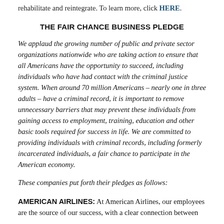rehabilitate and reintegrate. To learn more, click HERE.
THE FAIR CHANCE BUSINESS PLEDGE
We applaud the growing number of public and private sector organizations nationwide who are taking action to ensure that all Americans have the opportunity to succeed, including individuals who have had contact with the criminal justice system. When around 70 million Americans – nearly one in three adults – have a criminal record, it is important to remove unnecessary barriers that may prevent these individuals from gaining access to employment, training, education and other basic tools required for success in life. We are committed to providing individuals with criminal records, including formerly incarcerated individuals, a fair chance to participate in the American economy.
These companies put forth their pledges as follows:
AMERICAN AIRLINES: At American Airlines, our employees are the source of our success, with a clear connection between